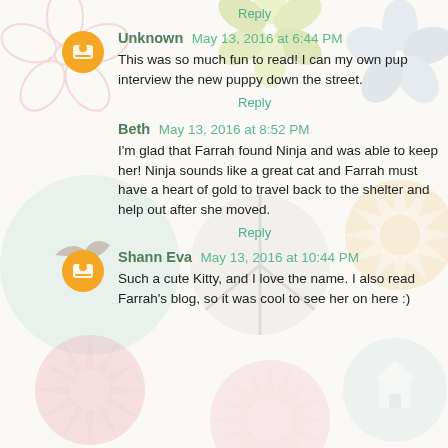Reply
Unknown May 13, 2016 at 6:44 PM
This was so much fun to read! I can my own pup interview the new puppy down the street.
Reply
Beth May 13, 2016 at 8:52 PM
I'm glad that Farrah found Ninja and was able to keep her! Ninja sounds like a great cat and Farrah must have a heart of gold to travel back to the shelter and help out after she moved.
Reply
Shann Eva May 13, 2016 at 10:44 PM
Such a cute Kitty, and I love the name. I also read Farrah's blog, so it was cool to see her on here :)